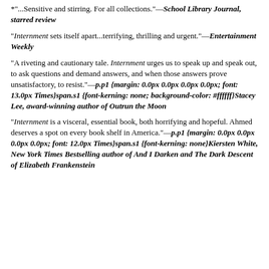*"...Sensitive and stirring. For all collections."—School Library Journal, starred review
"Internment sets itself apart...terrifying, thrilling and urgent."—Entertainment Weekly
"A riveting and cautionary tale. Internment urges us to speak up and speak out, to ask questions and demand answers, and when those answers prove unsatisfactory, to resist."—p.p1 {margin: 0.0px 0.0px 0.0px 0.0px; font: 13.0px Times}span.s1 {font-kerning: none; background-color: #ffffff}Stacey Lee, award-winning author of Outrun the Moon
"Internment is a visceral, essential book, both horrifying and hopeful. Ahmed deserves a spot on every book shelf in America."—p.p1 {margin: 0.0px 0.0px 0.0px 0.0px; font: 12.0px Times}span.s1 {font-kerning: none}Kiersten White, New York Times Bestselling author of And I Darken and The Dark Descent of Elizabeth Frankenstein